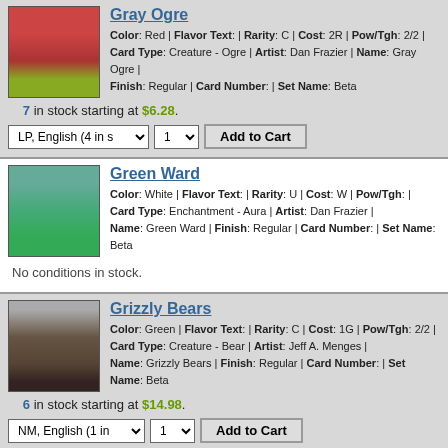Gray Ogre — Color: Red | Flavor Text: | Rarity: C | Cost: 2R | Pow/Tgh: 2/2 | Card Type: Creature - Ogre | Artist: Dan Frazier | Name: Gray Ogre | Finish: Regular | Card Number: | Set Name: Beta
7 in stock starting at $6.28.
Green Ward — Color: White | Flavor Text: | Rarity: U | Cost: W | Pow/Tgh: | Card Type: Enchantment - Aura | Artist: Dan Frazier | Name: Green Ward | Finish: Regular | Card Number: | Set Name: Beta
No conditions in stock.
Grizzly Bears — Color: Green | Flavor Text: | Rarity: C | Cost: 1G | Pow/Tgh: 2/2 | Card Type: Creature - Bear | Artist: Jeff A. Menges | Name: Grizzly Bears | Finish: Regular | Card Number: | Set Name: Beta
6 in stock starting at $14.98.
« Previous 1 2 3 4 5 6 7 8 9 ... Next »
Home
You have no items in your cart.